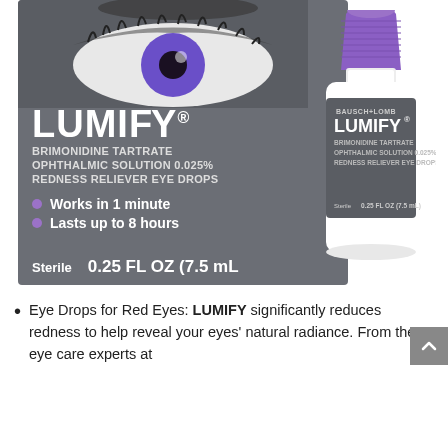[Figure (photo): Product photo of LUMIFY Brimonidine Tartrate Ophthalmic Solution 0.025% Redness Reliever Eye Drops (0.25 FL OZ / 7.5 mL) showing the gray retail box with a close-up eye image and purple/white dropper bottle placed beside it. Box text includes: LUMIFY, BRIMONIDINE TARTRATE OPHTHALMIC SOLUTION 0.025% REDNESS RELIEVER EYE DROPS, Works in 1 minute, Lasts up to 8 hours, Sterile, 0.25 FL OZ (7.5 mL). Bottle label shows: BAUSCH+LOMB, LUMIFY, BRIMONIDINE TARTRATE OPHTHALMIC SOLUTION 0.025% REDNESS RELIEVER EYE DROPS, Sterile 0.25 FL OZ (7.5 mL).]
Eye Drops for Red Eyes: LUMIFY significantly reduces redness to help reveal your eyes' natural radiance. From the eye care experts at